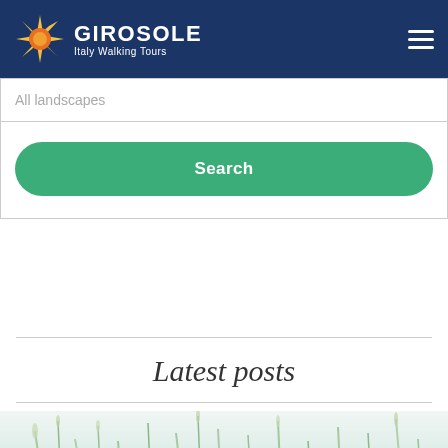GIROSOLE Italy Walking Tours
All landscapes
Search
Latest posts
[Figure (photo): Nature/landscape photo strip showing grasses and plants against a light sky background]